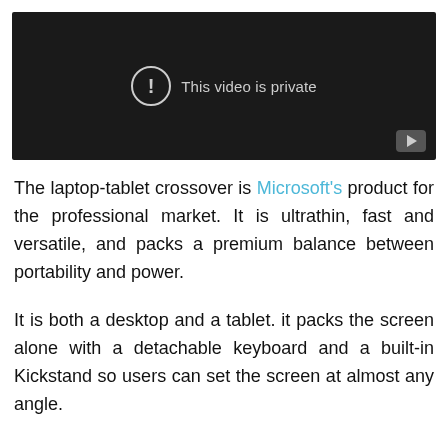[Figure (screenshot): Video player showing 'This video is private' message with a circle-exclamation icon and a play button in the bottom right corner on a dark background.]
The laptop-tablet crossover is Microsoft's product for the professional market. It is ultrathin, fast and versatile, and packs a premium balance between portability and power.
It is both a desktop and a tablet. it packs the screen alone with a detachable keyboard and a built-in Kickstand so users can set the screen at almost any angle.